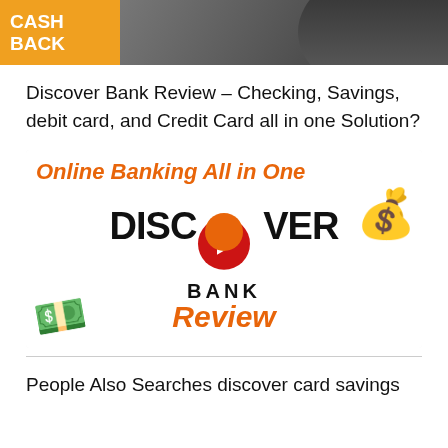[Figure (photo): Thumbnail image showing a person with 'CASH BACK' text on an orange diagonal banner]
Discover Bank Review – Checking, Savings, debit card, and Credit Card all in one Solution?
[Figure (screenshot): YouTube video thumbnail: 'Online Banking All in One DISCOVER BANK Review' with money bag and money stack emoji, red play button in center]
People Also Searches discover card savings